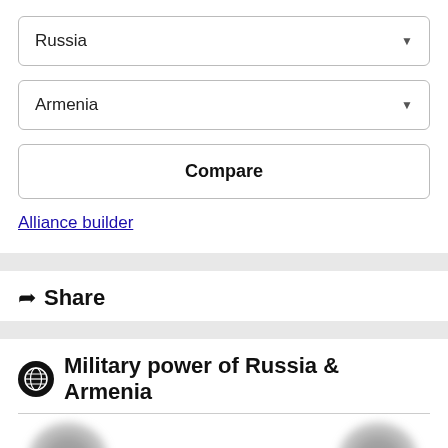Russia
Armenia
Compare
Alliance builder
Share
Military power of Russia & Armenia
[Figure (illustration): Blurred military vehicle silhouettes with Russian flag (white, blue, red stripes) and Armenian flag (red, blue, orange stripes) at the bottom]